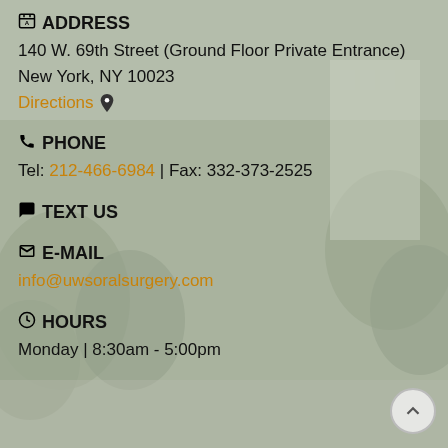ADDRESS
140 W. 69th Street (Ground Floor Private Entrance)
New York, NY 10023
Directions 📍
PHONE
Tel: 212-466-6984 | Fax: 332-373-2525
TEXT US
E-MAIL
info@uwsoralsurgery.com
HOURS
Monday | 8:30am - 5:00pm